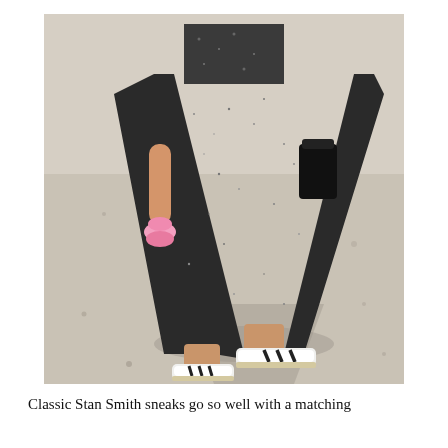[Figure (photo): Street style photo of a woman walking wearing a dark speckled midi skirt and matching top, white Adidas Stan Smith sneakers with black stripes, carrying a pink ballerina flat shoe in one hand and a black bag on her hip. The background is a sandy outdoor area with bright sunlight casting shadows.]
Classic Stan Smith sneaks go so well with a matching